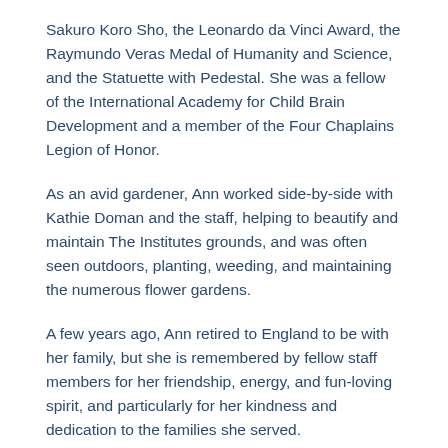Sakuro Koro Sho, the Leonardo da Vinci Award, the Raymundo Veras Medal of Humanity and Science, and the Statuette with Pedestal. She was a fellow of the International Academy for Child Brain Development and a member of the Four Chaplains Legion of Honor.
As an avid gardener, Ann worked side-by-side with Kathie Doman and the staff, helping to beautify and maintain The Institutes grounds, and was often seen outdoors, planting, weeding, and maintaining the numerous flower gardens.
A few years ago, Ann retired to England to be with her family, but she is remembered by fellow staff members for her friendship, energy, and fun-loving spirit, and particularly for her kindness and dedication to the families she served.